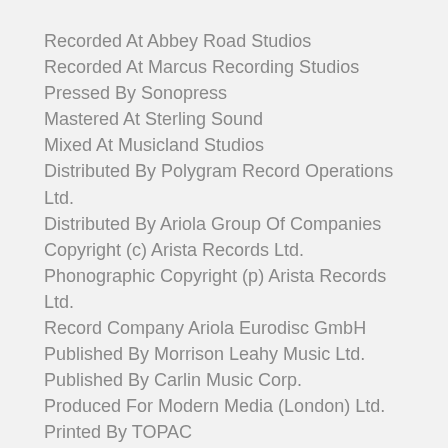Recorded At Abbey Road Studios
Recorded At Marcus Recording Studios
Pressed By Sonopress
Mastered At Sterling Sound
Mixed At Musicland Studios
Distributed By Polygram Record Operations Ltd.
Distributed By Ariola Group Of Companies
Copyright (c) Arista Records Ltd.
Phonographic Copyright (p) Arista Records Ltd.
Record Company Ariola Eurodisc GmbH
Published By Morrison Leahy Music Ltd.
Published By Carlin Music Corp.
Produced For Modern Media (London) Ltd.
Printed By TOPAC
Data provided by Discogs